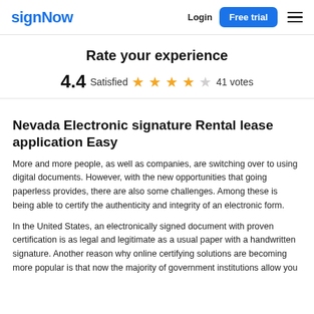signNow | Login | Free trial
Rate your experience
4.4 Satisfied ★★★★☆ 41 votes
Nevada Electronic signature Rental lease application Easy
More and more people, as well as companies, are switching over to using digital documents. However, with the new opportunities that going paperless provides, there are also some challenges. Among these is being able to certify the authenticity and integrity of an electronic form.
In the United States, an electronically signed document with proven certification is as legal and legitimate as a usual paper with a handwritten signature. Another reason why online certifying solutions are becoming more popular is that now the majority of government institutions allow you